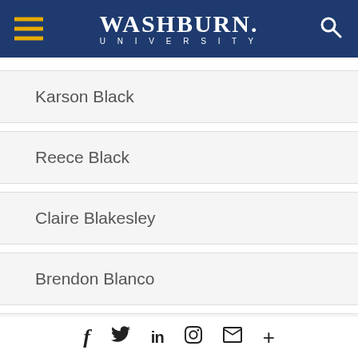[Figure (logo): Washburn University logo with hamburger menu and search icon on dark blue header]
Karson Black
Reece Black
Claire Blakesley
Brendon Blanco
Kyler Blocker
f  Twitter  in  Pinterest  mail  +